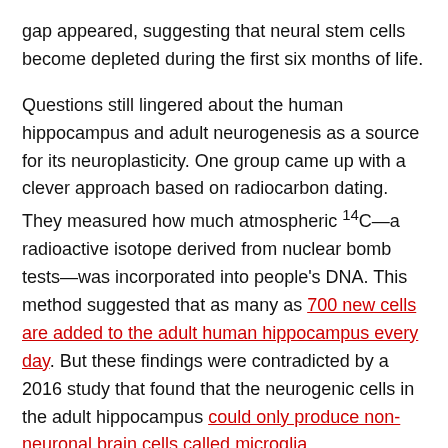gap appeared, suggesting that neural stem cells become depleted during the first six months of life.
Questions still lingered about the human hippocampus and adult neurogenesis as a source for its neuroplasticity. One group came up with a clever approach based on radiocarbon dating. They measured how much atmospheric ¹⁴C—a radioactive isotope derived from nuclear bomb tests—was incorporated into people's DNA. This method suggested that as many as 700 new cells are added to the adult human hippocampus every day. But these findings were contradicted by a 2016 study that found that the neurogenic cells in the adult hippocampus could only produce non-neuronal brain cells called microglia.
Rethinking neurogenesis research
Now the largest and most comprehensive study conducted to date presents even stronger evidence that robust neurogenesis doesn't continue throughout adulthood in the human hippocampus—or if it does,